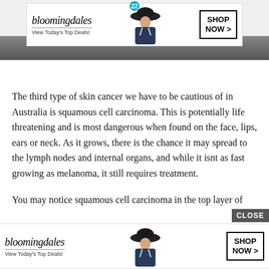[Figure (screenshot): Bloomingdale's advertisement banner at top of page with logo, model in dark hat, tagline 'View Today's Top Deals!' and 'SHOP NOW >' button. Number badge '22' visible above. Dark background strip beneath ad.]
The third type of skin cancer we have to be cautious of in Australia is squamous cell carcinoma. This is potentially life threatening and is most dangerous when found on the face, lips, ears or neck. As it grows, there is the chance it may spread to the lymph nodes and internal organs, and while it isnt as fast growing as melanoma, it still requires treatment.
You may notice squamous cell carcinoma in the top layer of your si...
[Figure (screenshot): Bloomingdale's advertisement banner overlaying bottom of page with 'CLOSE' button, logo, model in dark wide-brim hat, and 'SHOP NOW >' button. Partially obscures article text below.]